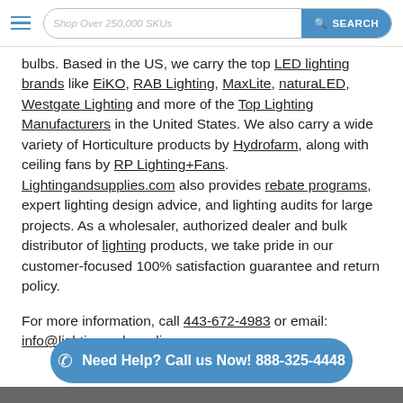Shop Over 250,000 SKUs | SEARCH
bulbs. Based in the US, we carry the top LED lighting brands like EiKO, RAB Lighting, MaxLite, naturaLED, Westgate Lighting and more of the Top Lighting Manufacturers in the United States. We also carry a wide variety of Horticulture products by Hydrofarm, along with ceiling fans by RP Lighting+Fans. Lightingandsupplies.com also provides rebate programs, expert lighting design advice, and lighting audits for large projects. As a wholesaler, authorized dealer and bulk distributor of lighting products, we take pride in our customer-focused 100% satisfaction guarantee and return policy.
For more information, call 443-672-4983 or email: info@lightingandsupplies.com.
[Figure (other): Teal call-to-action button with phone icon reading: Need Help? Call us Now! 888-325-4448]